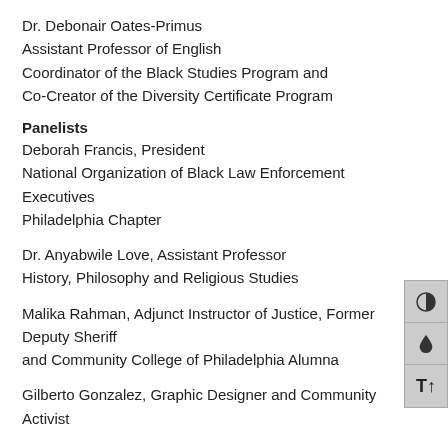Dr. Debonair Oates-Primus
Assistant Professor of English
Coordinator of the Black Studies Program and
Co-Creator of the Diversity Certificate Program
Panelists
Deborah Francis, President
National Organization of Black Law Enforcement Executives
Philadelphia Chapter
Dr. Anyabwile Love, Assistant Professor
History, Philosophy and Religious Studies
Malika Rahman, Adjunct Instructor of Justice, Former Deputy Sheriff
and Community College of Philadelphia Alumna
Gilberto Gonzalez, Graphic Designer and Community Activist
Marissa Johnson-Valenzuela, Assistant Professor
English